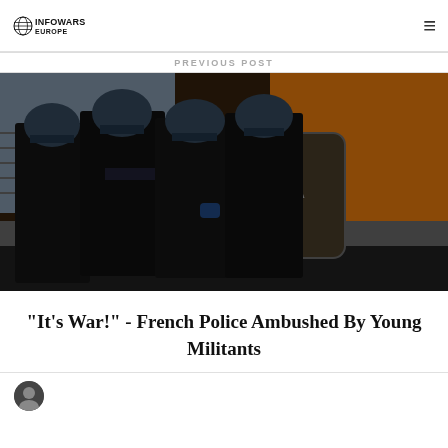INFOWARS EUROPE
PREVIOUS POST
[Figure (photo): Riot police officers in full tactical gear including helmets, shields, and body armor standing in formation at night near a building with an orange-lit wall and metal shutter.]
"It's War!" - French Police Ambushed By Young Militants